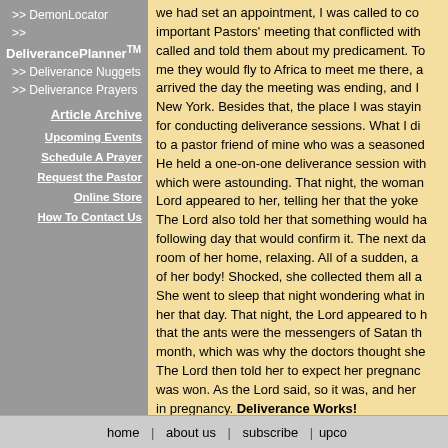>> DemonLocator
>>
DeliverancePlannerTM
>> Deliverance Nuggets
>> Deliverance Prayers
Article Archive
Upcoming Events
Schedule A Prayer
Request the Pastor
Online Store
How To Contact Us
we had set an appointment, I was called to co... important Pastors' meeting that conflicted with... called and told them about my predicament. To me they would fly to Africa to meet me there, a arrived the day the meeting was ending, and I New York. Besides that, the place I was stayin for conducting deliverance sessions. What I di to a pastor friend of mine who was a seasoned He held a one-on-one deliverance session with which were astounding. That night, the woman Lord appeared to her, telling her that the yoke The Lord also told her that something would ha following day that would confirm it. The next da room of her home, relaxing. All of a sudden, a of her body! Shocked, she collected them all a She went to sleep that night wondering what in her that day. That night, the Lord appeared to h that the ants were the messengers of Satan th month, which was why the doctors thought she The Lord then told her to expect her pregnanc was won. As the Lord said, so it was, and her in pregnancy. Deliverance Works!
The true story above is taken from Dr. A. O. Iti from Evil. To buy a copy, click here.
home | about us | subscribe | upco